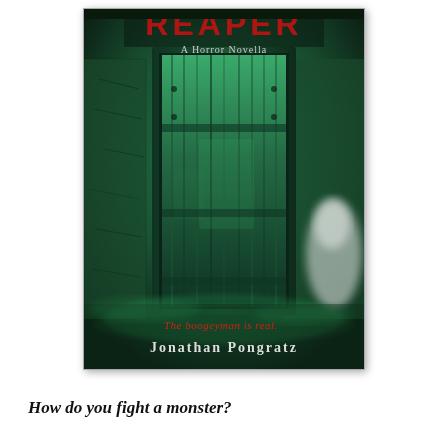[Figure (illustration): Book cover for a horror novella. The cover shows a dark green-tinted scene with an old weathered wooden door in the center, partially open. The background is dark with a misty green atmospheric glow. A ghostly white figure or sheet is visible to the right side. At the top partially visible is the title 'REAPER' in red letters, with 'A Horror Novella' in white below it. Near the bottom in red italic text: 'The boogeyman is real.' and below that in white small-caps style: 'Jonathan Pongratz'.]
How do you fight a monster?